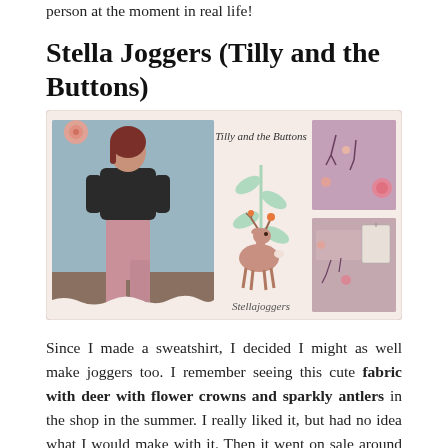person at the moment in real life!
Stella Joggers (Tilly and the Buttons)
[Figure (photo): Photo collage showing a woman wearing pink/mauve joggers with deer and flower print, standing against a blue wall. Center shows the Tilly and the Buttons branding with a deer illustration and 'Stellajoggers' text. Right side shows two close-up photos of the pink floral fabric with deer pattern.]
Since I made a sweatshirt, I decided I might as well make joggers too. I remember seeing this cute fabric with deer with flower crowns and sparkly antlers in the shop in the summer. I really liked it, but had no idea what I would make with it. Then it went on sale around Christmas